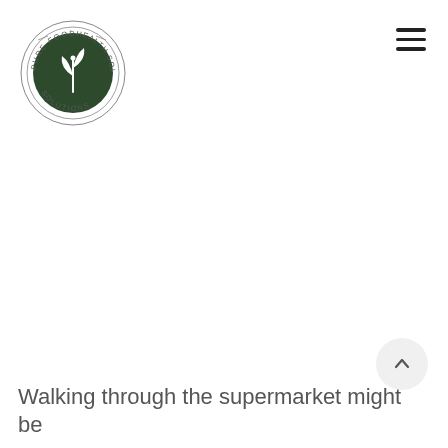[Figure (logo): Pure Food Health Solutions circular logo with dark green background, white plant/leaf icon in center, text reading PURE FOOD on top arc and HEALTH SOLUTIONS on right arc, SOLUTIONS on bottom arc, thin double circle border]
[Figure (other): Hamburger menu icon with three horizontal dark lines in top right corner]
[Figure (other): Circular scroll-to-top button with upward chevron arrow, light grey background, bottom right corner]
Walking through the supermarket might be